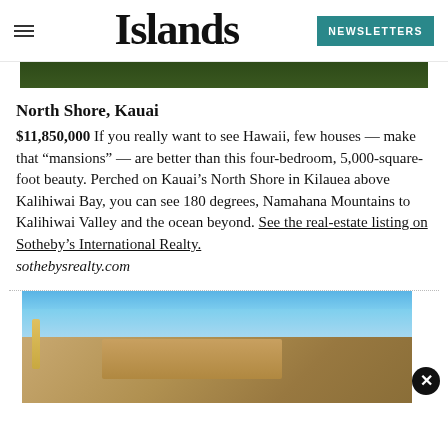Islands
[Figure (photo): Top portion of exterior property photo, showing lush green vegetation/lawn area]
North Shore, Kauai
$11,850,000 If you really want to see Hawaii, few houses — make that “mansions” — are better than this four-bedroom, 5,000-square-foot beauty. Perched on Kauai’s North Shore in Kilauea above Kalihiwai Bay, you can see 180 degrees, Namahana Mountains to Kalihiwai Valley and the ocean beyond. See the real-estate listing on Sotheby’s International Realty. sothebysrealty.com
[Figure (photo): Exterior photo of a large home with palm trees at dusk/twilight with a light post visible]